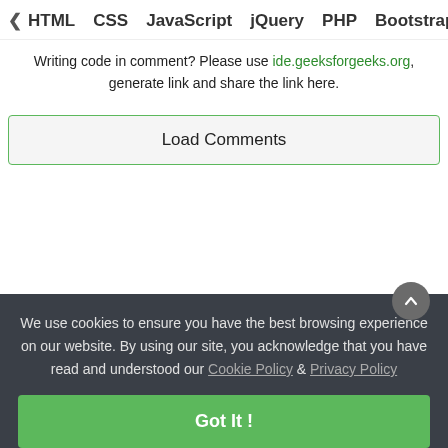< HTML  CSS  JavaScript  jQuery  PHP  Bootstrap  N>
Writing code in comment? Please use ide.geeksforgeeks.org, generate link and share the link here.
Load Comments
We use cookies to ensure you have the best browsing experience on our website. By using our site, you acknowledge that you have read and understood our Cookie Policy & Privacy Policy
Got It !